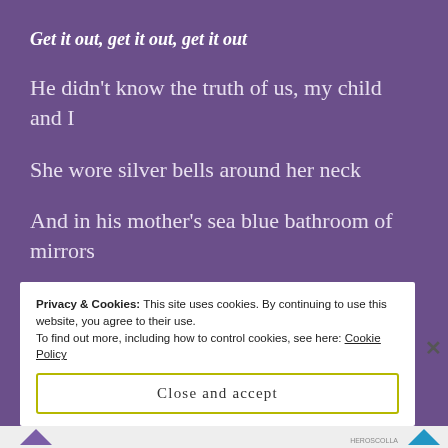Get it out, get it out, get it out
He didn’t know the truth of us, my child and I
She wore silver bells around her neck
And in his mother’s sea blue bathroom of mirrors
I stood watching the rapture of your being, take me over
Privacy & Cookies: This site uses cookies. By continuing to use this website, you agree to their use.
To find out more, including how to control cookies, see here: Cookie Policy
Close and accept